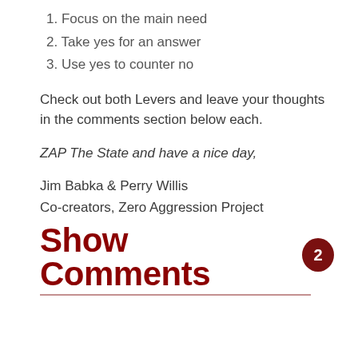1. Focus on the main need
2. Take yes for an answer
3. Use yes to counter no
Check out both Levers and leave your thoughts in the comments section below each.
ZAP The State and have a nice day,
Jim Babka & Perry Willis
Co-creators, Zero Aggression Project
Show Comments 2